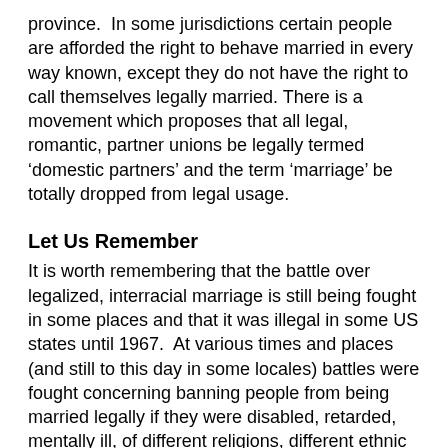province.  In some jurisdictions certain people are afforded the right to behave married in every way known, except they do not have the right to call themselves legally married. There is a movement which proposes that all legal, romantic, partner unions be legally termed 'domestic partners' and the term 'marriage' be totally dropped from legal usage.
Let Us Remember
It is worth remembering that the battle over legalized, interracial marriage is still being fought in some places and that it was illegal in some US states until 1967.  At various times and places (and still to this day in some locales) battles were fought concerning banning people from being married legally if they were disabled, retarded, mentally ill, of different religions, different ethnic groups, different nationalities, too closely related, too old, too poor or in debt, were in slavery or indentured servitude, were in certain occupations, certain classes, certain casts or were already married to too many others (4 being a common limit). Remember also the French Courts of Love once held that people married to one another could not love each other because marriage was essentially a relationship of unequals